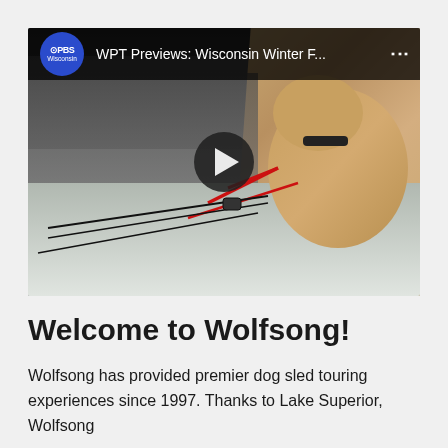[Figure (screenshot): Embedded YouTube video thumbnail showing a dog sled scene in winter. A husky dog in a red harness is pulling a sled through a snowy landscape with bare trees in the background. The video title bar shows 'PBS Wisconsin' logo and 'WPT Previews: Wisconsin Winter F...' with a play button in the center.]
Welcome to Wolfsong!
Wolfsong has provided premier dog sled touring experiences since 1997. Thanks to Lake Superior, Wolfsong